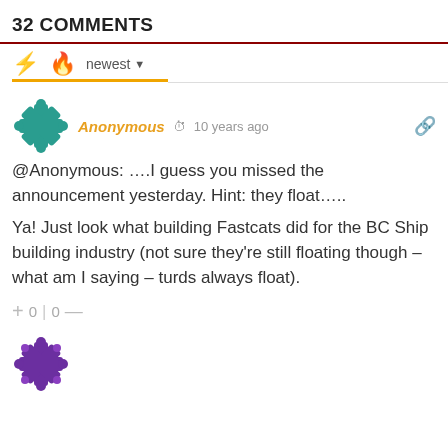32 COMMENTS
Anonymous  10 years ago
@Anonymous: ….I guess you missed the announcement yesterday. Hint: they float…..
Ya! Just look what building Fastcats did for the BC Ship building industry (not sure they're still floating though – what am I saying – turds always float).
+ 0 | 0 —
[Figure (illustration): Purple snowflake/asterisk avatar icon at bottom of page]